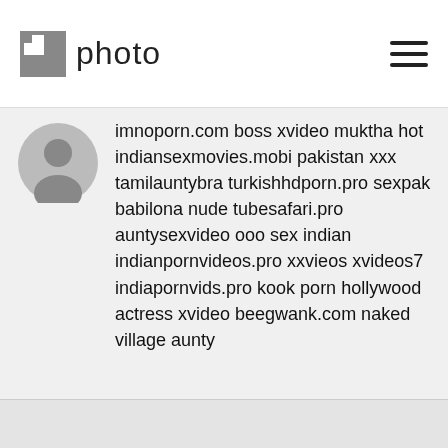photo
[Figure (illustration): Circular avatar icon with a generic person silhouette in gray]
imnoporn.com boss xvideo muktha hot indiansexmovies.mobi pakistan xxx tamilauntybra turkishhdporn.pro sexpak babilona nude tubesafari.pro auntysexvideo ooo sex indian indianpornvideos.pro xxvieos xvideos7 indiapornvids.pro kook porn hollywood actress xvideo beegwank.com naked village aunty